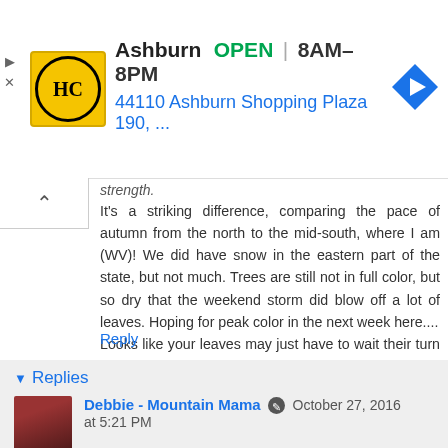[Figure (other): Advertisement banner: HC logo (yellow circle with HC letters), location 'Ashburn', status 'OPEN', hours '8AM–8PM', address '44110 Ashburn Shopping Plaza 190, ...', blue navigation arrow icon, with ad controls (triangle and X buttons)]
strength.
It's a striking difference, comparing the pace of autumn from the north to the mid-south, where I am (WV)! We did have snow in the eastern part of the state, but not much. Trees are still not in full color, but so dry that the weekend storm did blow off a lot of leaves. Hoping for peak color in the next week here....
Looks like your leaves may just have to wait their turn for getting raked....maybe just let them compost naturally this year, given your nursing duties. :)
Rita
Reply
▾ Replies
Debbie - Mountain Mama ✎ October 27, 2016 at 5:21 PM
Hi Rita! Yes, my sweetie is dealing with a long...